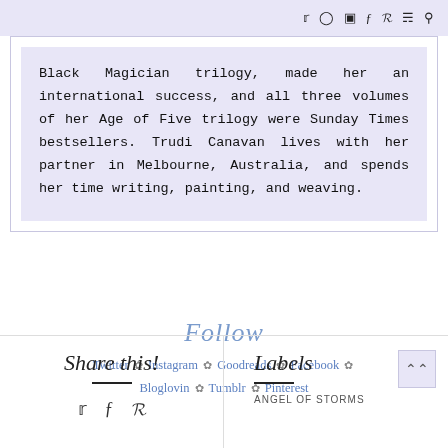Twitter Instagram Goodreads Facebook Bloglovin Tumblr Pinterest [social icons in header]
Black Magician trilogy, made her an international success, and all three volumes of her Age of Five trilogy were Sunday Times bestsellers. Trudi Canavan lives with her partner in Melbourne, Australia, and spends her time writing, painting, and weaving.
Follow
Twitter ❧ Instagram ❧ Goodreads ❧ Facebook ❧ Bloglovin ❧ Tumblr ❧ Pinterest
Share this!
Labels
ANGEL OF STORMS